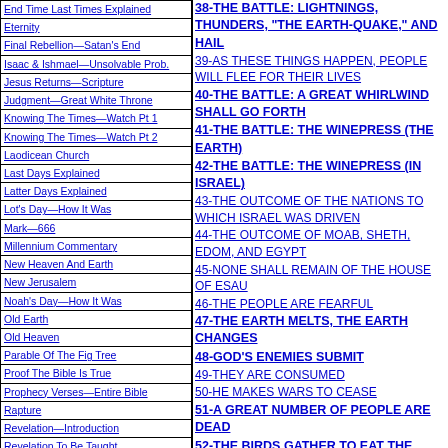End Time Last Times Explained
Eternity
Final Rebellion—Satan's End
Isaac & Ishmael—Unsolvable Prob.
Jesus Returns—Scripture
Judgment—Great White Throne
Knowing The Times—Watch Pt 1
Knowing The Times—Watch Pt 2
Laodicean Church
Last Days Explained
Latter Days Explained
Lot's Day—How It Was
Mark—666
Millennium Commentary
New Heaven And Earth
New Jerusalem
Noah's Day—How It Was
Old Earth
Old Heaven
Parable Of The Fig Tree
Proof The Bible Is True
Prophecy Verses—Entire Bible
Rapture
Revelation—Introduction
Revelation To Be Taught
Revelation 17 And 18
Revelation 19-22 Pt 1
Revelation 19-22 Pt 2
Revelation 19-22 Pt 3
38-THE BATTLE: LIGHTNINGS, THUNDERS, "THE EARTH-QUAKE," AND HAIL
39-AS THESE THINGS HAPPEN, PEOPLE WILL FLEE FOR THEIR LIVES
40-THE BATTLE: A GREAT WHIRLWIND SHALL GO FORTH
41-THE BATTLE: THE WINEPRESS (THE EARTH)
42-THE BATTLE: THE WINEPRESS (IN ISRAEL)
43-THE OUTCOME OF THE NATIONS TO WHICH ISRAEL WAS DRIVEN
44-THE OUTCOME OF MOAB, SHETH, EDOM, AND EGYPT
45-NONE SHALL REMAIN OF THE HOUSE OF ESAU
46-THE PEOPLE ARE FEARFUL
47-THE EARTH MELTS, THE EARTH CHANGES
48-GOD'S ENEMIES SUBMIT
49-THEY ARE CONSUMED
50-HE MAKES WARS TO CEASE
51-A GREAT NUMBER OF PEOPLE ARE DEAD
52-THE BIRDS GATHER TO EAT THE FLESH OF THE DEAD BODIES
53-THE NUMBER OF PEOPLE THAT